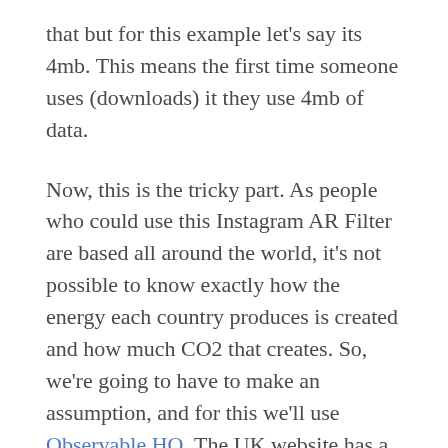that but for this example let's say its 4mb. This means the first time someone uses (downloads) it they use 4mb of data.
Now, this is the tricky part. As people who could use this Instagram AR Filter are based all around the world, it's not possible to know exactly how the energy each country produces is created and how much CO2 that creates. So, we're going to have to make an assumption, and for this we'll use Observable HQ. The UK website has a handy calculator that tells us how much CO2 is produced in the UK when we download data from the internet.
According to Observable HQ, 1mb of